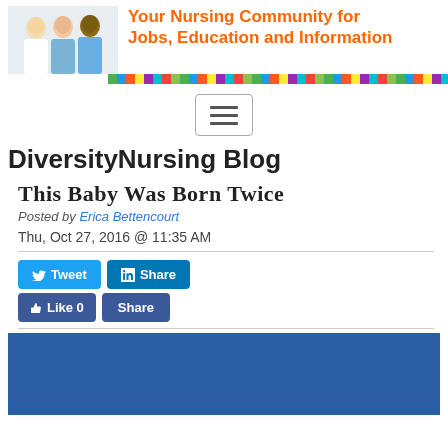[Figure (photo): Header banner with nursing staff photo (three medical professionals) and text 'Your Nursing Community for Jobs, Education and Information' with rainbow colored bar below]
[Figure (other): Hamburger menu button (three horizontal lines in a rounded rectangle border)]
DiversityNursing Blog
This Baby Was Born Twice
Posted by Erica Bettencourt
Thu, Oct 27, 2016 @ 11:35 AM
[Figure (other): Social sharing buttons: Tweet (Twitter), Share (LinkedIn), Like 0 (Facebook), Share (Facebook)]
[Figure (photo): Article image showing a baby's head against a blue background with medical equipment visible]